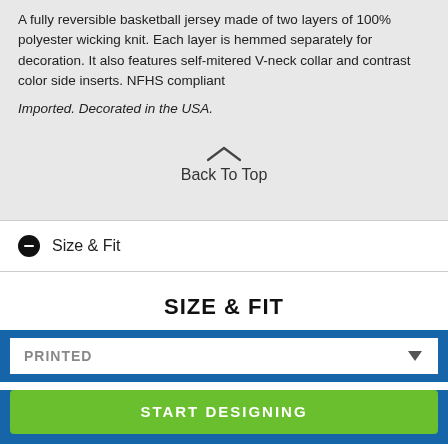A fully reversible basketball jersey made of two layers of 100% polyester wicking knit. Each layer is hemmed separately for decoration. It also features self-mitered V-neck collar and contrast color side inserts. NFHS compliant
Imported. Decorated in the USA.
Back To Top
Size & Fit
SIZE & FIT
PRINTED
START DESIGNING